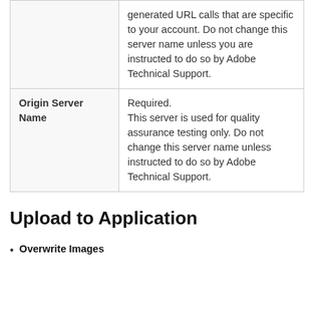|  | generated URL calls that are specific to your account. Do not change this server name unless you are instructed to do so by Adobe Technical Support. |
| Origin Server Name | Required.
This server is used for quality assurance testing only. Do not change this server name unless instructed to do so by Adobe Technical Support. |
Upload to Application
Overwrite Images